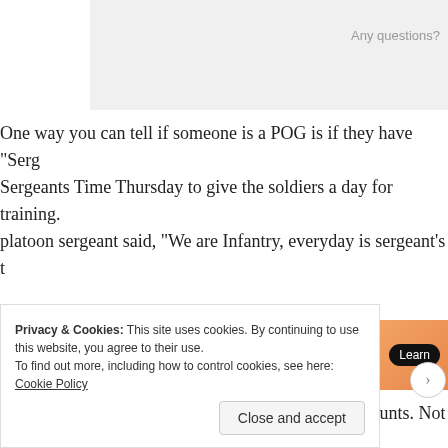Any questions?
One way you can tell if someone is a POG is if they have “Sergeants Time Thursday to give the soldiers a day for training. platoon sergeant said, “We are Infantry, everyday is sergeant’s t
Advertisements
[Figure (logo): WordPress VIP logo with orange gradient Learn button]
It can be difficult to transition into civilian life for grunts. Not b because they have little time for POGs. It is difficult to take atti
Privacy & Cookies: This site uses cookies. By continuing to use this website, you agree to their use.
To find out more, including how to control cookies, see here: Cookie Policy
Close and accept